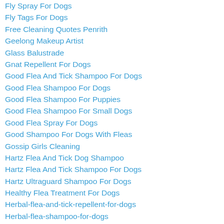Fly Spray For Dogs
Fly Tags For Dogs
Free Cleaning Quotes Penrith
Geelong Makeup Artist
Glass Balustrade
Gnat Repellent For Dogs
Good Flea And Tick Shampoo For Dogs
Good Flea Shampoo For Dogs
Good Flea Shampoo For Puppies
Good Flea Shampoo For Small Dogs
Good Flea Spray For Dogs
Good Shampoo For Dogs With Fleas
Gossip Girls Cleaning
Hartz Flea And Tick Dog Shampoo
Hartz Flea And Tick Shampoo For Dogs
Hartz Ultraguard Shampoo For Dogs
Healthy Flea Treatment For Dogs
Herbal-flea-and-tick-repellent-for-dogs
Herbal-flea-shampoo-for-dogs
Herbal-flea-treatment-for-dogs
Herbal-tick-repellent-for-dogs